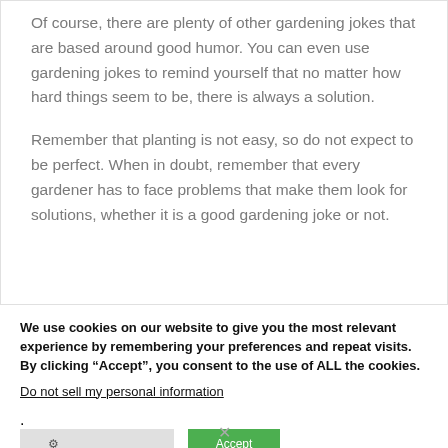Of course, there are plenty of other gardening jokes that are based around good humor. You can even use gardening jokes to remind yourself that no matter how hard things seem to be, there is always a solution.
Remember that planting is not easy, so do not expect to be perfect. When in doubt, remember that every gardener has to face problems that make them look for solutions, whether it is a good gardening joke or not.
We use cookies on our website to give you the most relevant experience by remembering your preferences and repeat visits. By clicking “Accept”, you consent to the use of ALL the cookies.
Do not sell my personal information.